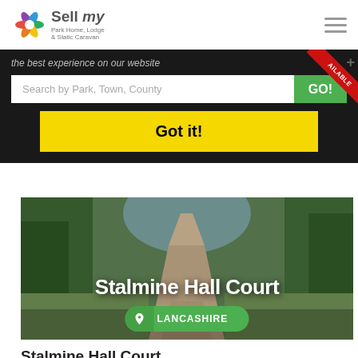[Figure (logo): Sell my Park Home, Lodge & Static Caravan logo with colorful flower graphic]
the best experience on our website
Search by Park, Town, County
Got it!
[Figure (photo): Outdoor driveway path through trees at Stalmine Hall Court]
Stalmine Hall Court
LANCASHIRE
Stalmine Hall Court
Stalmine, Lancashire